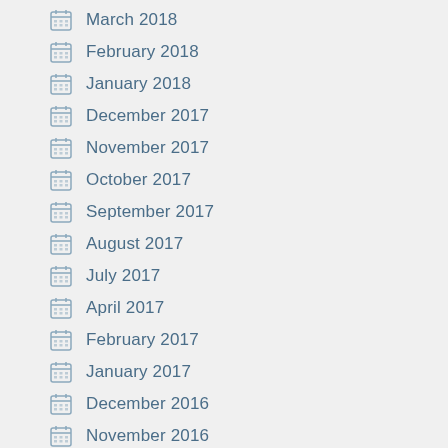March 2018
February 2018
January 2018
December 2017
November 2017
October 2017
September 2017
August 2017
July 2017
April 2017
February 2017
January 2017
December 2016
November 2016